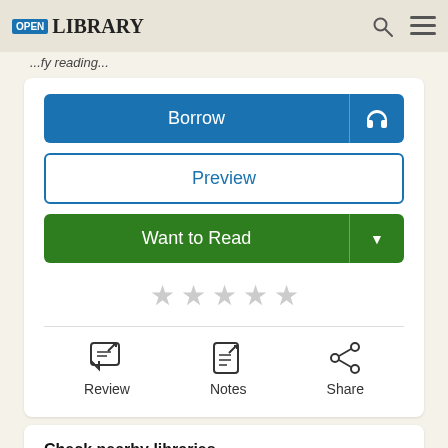Open Library
Borrow
Preview
Want to Read
[Figure (other): Five empty star rating icons in gray]
[Figure (other): Three action icons: Review (chat with pencil), Notes (page with pencil), Share (share network icon)]
Check nearby libraries
Library.link
WorldCat